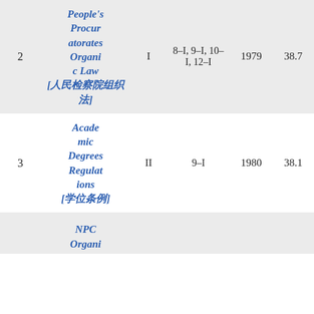| # | Name | Session | Articles | Year | Score |
| --- | --- | --- | --- | --- | --- |
| 2 | People's Procuratorates Organic Law [人民检察院组织法] | I | 8–I, 9–I, 10–I, 12–I | 1979 | 38.7 |
| 3 | Academic Degrees Regulations [学位条例] | II | 9–I | 1980 | 38.1 |
|  | NPC Organi… |  |  |  |  |